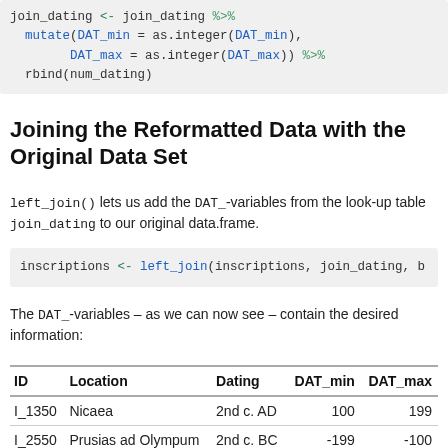join_dating <- join_dating %>%
  mutate(DAT_min = as.integer(DAT_min),
         DAT_max = as.integer(DAT_max)) %>%
  rbind(num_dating)
Joining the Reformatted Data with the Original Data Set
left_join() lets us add the DAT_-variables from the look-up table join_dating to our original data.frame.
inscriptions <- left_join(inscriptions, join_dating, b
The DAT_-variables – as we can now see – contain the desired information:
| ID | Location | Dating | DAT_min | DAT_max |
| --- | --- | --- | --- | --- |
| I_1350 | Nicaea | 2nd c. AD | 100 | 199 |
| I_2550 | Prusias ad Olympum | 2nd c. BC | -199 | -100 |